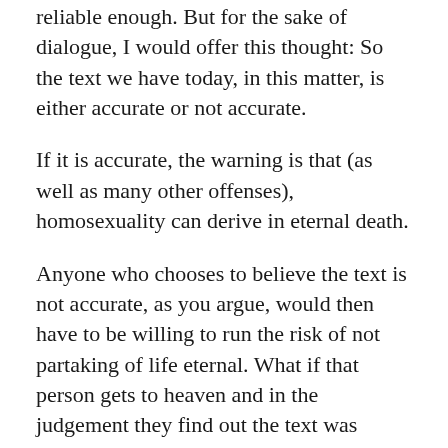reliable enough. But for the sake of dialogue, I would offer this thought: So the text we have today, in this matter, is either accurate or not accurate.
If it is accurate, the warning is that (as well as many other offenses), homosexuality can derive in eternal death.
Anyone who chooses to believe the text is not accurate, as you argue, would then have to be willing to run the risk of not partaking of life eternal. What if that person gets to heaven and in the judgement they find out the text was accurate?
So for example, imagine you're about to get a blood transfusion. The blood may